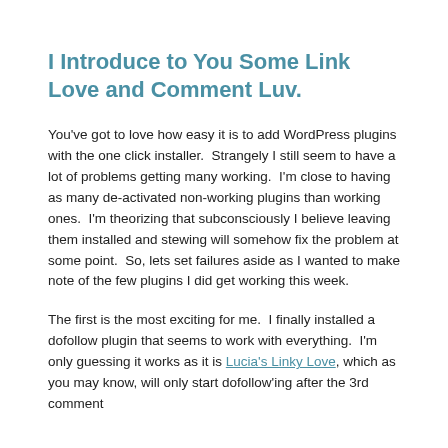I Introduce to You Some Link Love and Comment Luv.
You've got to love how easy it is to add WordPress plugins with the one click installer.  Strangely I still seem to have a lot of problems getting many working.  I'm close to having as many de-activated non-working plugins than working ones.  I'm theorizing that subconsciously I believe leaving them installed and stewing will somehow fix the problem at some point.  So, lets set failures aside as I wanted to make note of the few plugins I did get working this week.
The first is the most exciting for me.  I finally installed a dofollow plugin that seems to work with everything.  I'm only guessing it works as it is Lucia's Linky Love, which as you may know, will only start dofollow'ing after the 3rd comment